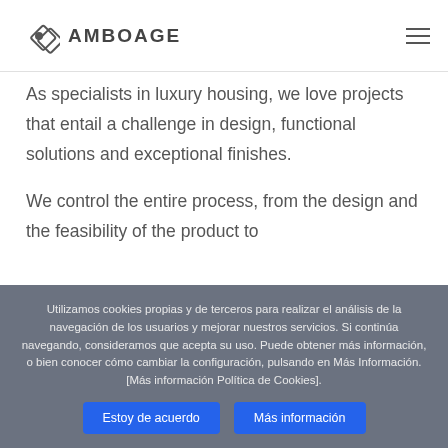AMBOAGE
As specialists in luxury housing, we love projects that entail a challenge in design, functional solutions and exceptional finishes.
We control the entire process, from the design and the feasibility of the product to
Utilizamos cookies propias y de terceros para realizar el análisis de la navegación de los usuarios y mejorar nuestros servicios. Si continúa navegando, consideramos que acepta su uso. Puede obtener más información, o bien conocer cómo cambiar la configuración, pulsando en Más Información. [Más información Política de Cookies].
Estoy de acuerdo | Más información